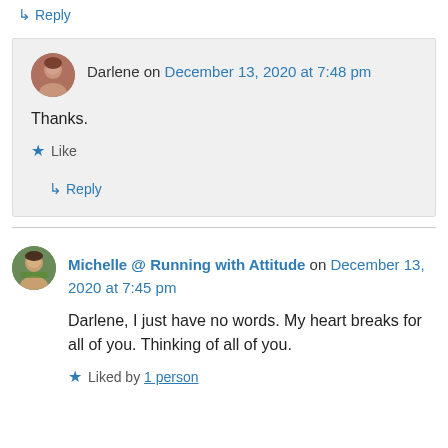↳ Reply
Darlene on December 13, 2020 at 7:48 pm
Thanks.
★ Like
↳ Reply
Michelle @ Running with Attitude on December 13, 2020 at 7:45 pm
Darlene, I just have no words. My heart breaks for all of you. Thinking of all of you.
★ Liked by 1 person